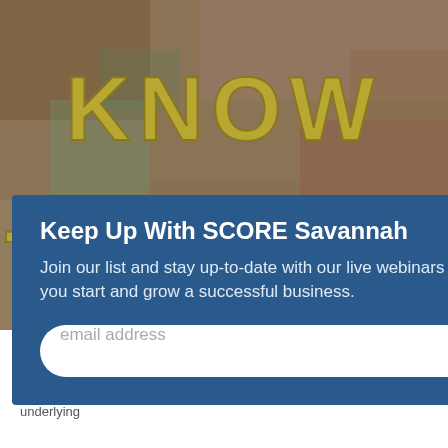[Figure (photo): Stone or rock texture background with gold/brass 3D letters spelling 'KNOW THYSELF']
Keep Up With SCORE Savannah
Join our list and stay up-to-date with our live webinars designed to help you start and grow a successful business.
email address
SUBMIT
September 10, 2015, 1:00pm EDT
Atlantic Leadership Group CEO Edwards Holliday shows how to use the DISC Assessment (tm) to identify your personal tendencies and underlying